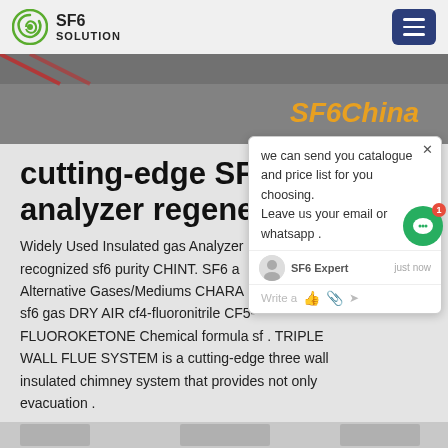SF6 SOLUTION
[Figure (photo): Outdoor ground/pavement banner image with SF6China text overlay in orange italic]
cutting-edge SF6 purity analyzer regeneration
Widely Used Insulated gas Analyzer recognized sf6 purity CHINT. SF6 a Alternative Gases/Mediums CHARA sf6 gas DRY AIR cf4-fluoronitrile CF5-FLUOROKETONE Chemical formula sf . TRIPLE WALL FLUE SYSTEM is a cutting-edge three wall insulated chimney system that provides not only evacuation .
Get Price
[Figure (screenshot): Chat popup overlay with message: we can send you catalogue and price list for you choosing. Leave us your email or whatsapp . SF6 Expert just now. Write a message input area.]